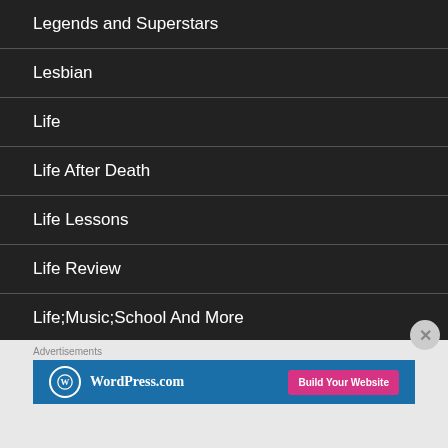Legends and Superstars
Lesbian
Life
Life After Death
Life Lessons
Life Review
Life;Music;School And More
Advertisements
[Figure (logo): WordPress.com advertisement banner with logo and 'Build Your Website' button]